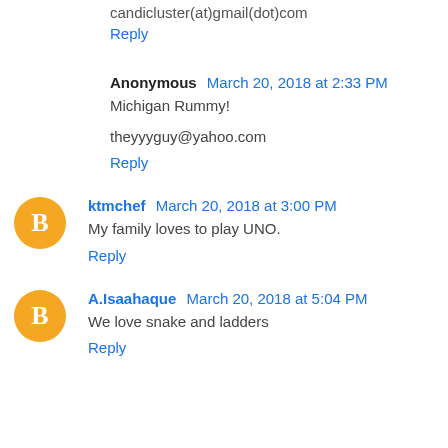candicluster(at)gmail(dot)com
Reply
Anonymous  March 20, 2018 at 2:33 PM
Michigan Rummy!
theyyyguy@yahoo.com
Reply
ktmchef  March 20, 2018 at 3:00 PM
My family loves to play UNO.
Reply
A.Isaahaque  March 20, 2018 at 5:04 PM
We love snake and ladders
Reply